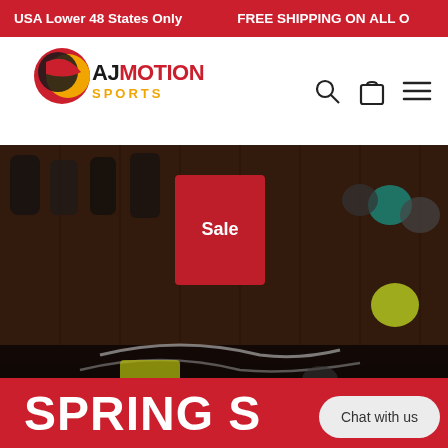USA Lower 48 States Only   FREE SHIPPING ON ALL O
[Figure (logo): AJ Motion Sports logo — red and yellow circular swoosh graphic above 'AJMOTION SPORTS' text in red and gold]
[Figure (photo): Interior of a sports store showing helmets, gloves, bikes and ski/cycling equipment on wall racks and floor displays, dimly lit]
SPRING S...
Chat with us